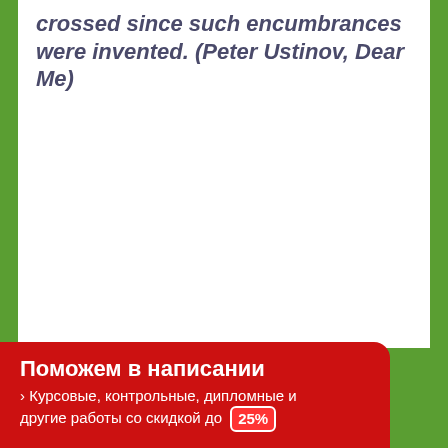crossed since such encumbrances were invented. (Peter Ustinov, Dear Me)
Поможем в написании › Курсовые, контрольные, дипломные и другие работы со скидкой до 25%